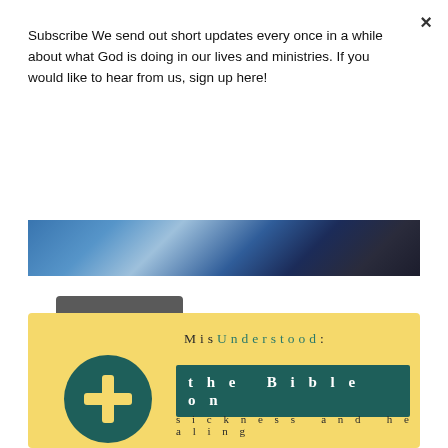×
Subscribe We send out short updates every once in a while about what God is doing in our lives and ministries. If you would like to hear from us, sign up here!
Subscribe
[Figure (photo): Dark photo strip showing people, partially visible]
[Figure (illustration): Yellow card with teal circle plus icon and text: MisUnderstood: the Bible on sickness and healing]